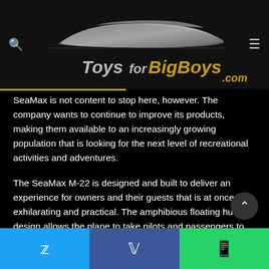[Figure (logo): ToysforBigBoys.com logo with silver car silhouette on black background]
SeaMax is not content to stop here, however. The company wants to continue to improve its products, making them available to an increasingly growing population that is looking for the next level of recreational activities and adventures.
The SeaMax M-22 is designed and built to deliver an experience for owners and their guests that is at once exhilarating and practical. The amphibious floating hulls design allows the plane to take pilots and passengers to destinations in a wide variety of conditions that few other planes can actually reach.